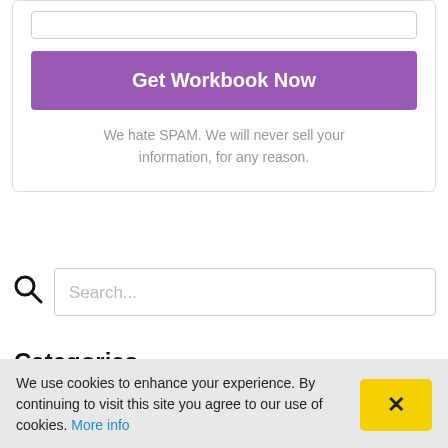Get Workbook Now
We hate SPAM. We will never sell your information, for any reason.
Search...
Categories
We use cookies to enhance your experience. By continuing to visit this site you agree to our use of cookies. More info